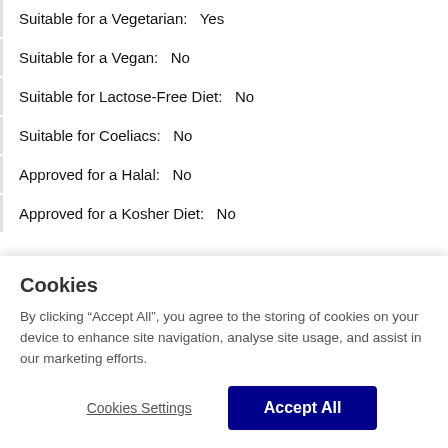Suitable for a Vegetarian:   Yes
Suitable for a Vegan:   No
Suitable for Lactose-Free Diet:   No
Suitable for Coeliacs:   No
Approved for a Halal:   No
Approved for a Kosher Diet:   No
Allergens
Key: Contains  May Contain
Cookies
By clicking “Accept All”, you agree to the storing of cookies on your device to enhance site navigation, analyse site usage, and assist in our marketing efforts.
Cookies Settings  Accept All